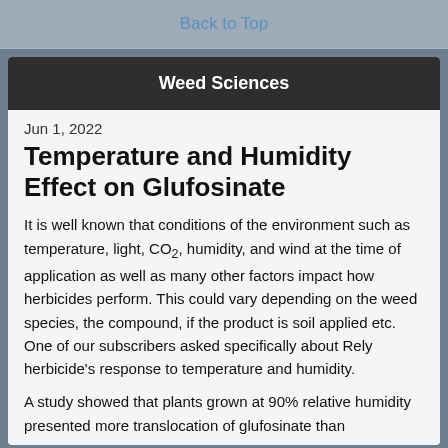Back to Top
Weed Sciences
Jun 1, 2022
Temperature and Humidity Effect on Glufosinate
It is well known that conditions of the environment such as temperature, light, CO2, humidity, and wind at the time of application as well as many other factors impact how herbicides perform. This could vary depending on the weed species, the compound, if the product is soil applied etc.
One of our subscribers asked specifically about Rely herbicide's response to temperature and humidity.
A study showed that plants grown at 90% relative humidity presented more translocation of glufosinate than